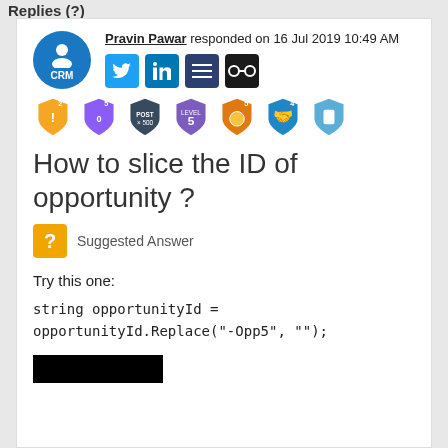Replies (?)
Pravin Pawar responded on 16 Jul 2019 10:49 AM
[Figure (illustration): User avatar with CRM label and social media icons (Twitter, LinkedIn, list, glasses)]
[Figure (illustration): Row of community badges/achievements icons]
How to slice the ID of opportunity ?
[Figure (illustration): Yellow question mark badge icon with 'Suggested Answer' label]
Try this one:
string opportunityId = opportunityId.Replace("-Opp5", "");